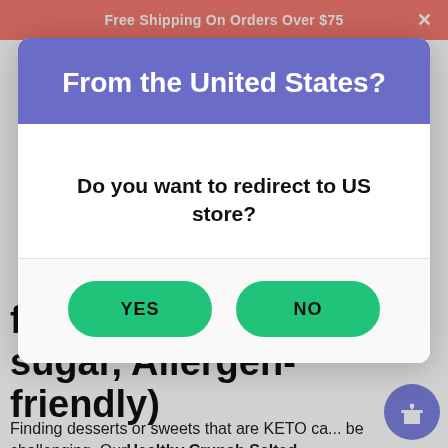Free Shipping On Orders Over $75
From the United States?
Do you want to redirect to US store?
YES
NO
free, Grain-Free, Low sugar, Allergen-friendly)
Finding desserts or sweets that are KETO ca... be challenging. Our Healthy Crunch Salted Caramel Seed Butter...